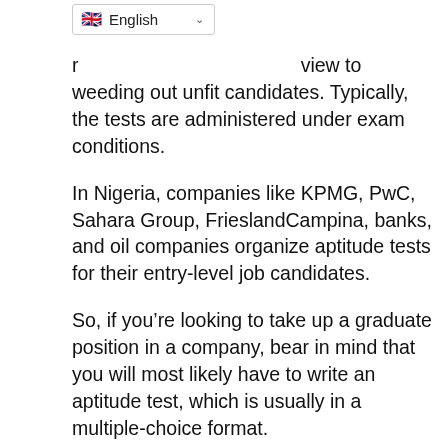...view to weeding out unfit candidates. Typically, the tests are administered under exam conditions.
In Nigeria, companies like KPMG, PwC, Sahara Group, FrieslandCampina, banks, and oil companies organize aptitude tests for their entry-level job candidates.
So, if you're looking to take up a graduate position in a company, bear in mind that you will most likely have to write an aptitude test, which is usually in a multiple-choice format.
Your performance during this test will determine whether you will be invited for the next phase of the recruitment process, which...